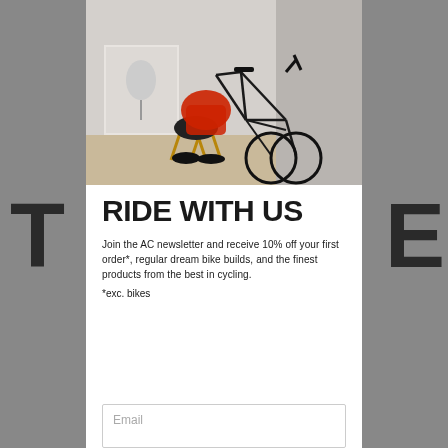[Figure (photo): A road bicycle leaning in a room with a chair and a framed cycling poster. A red jacket is draped over the chair. Wooden floor visible.]
RIDE WITH US
Join the AC newsletter and receive 10% off your first order*, regular dream bike builds, and the finest products from the best in cycling.
*exc. bikes